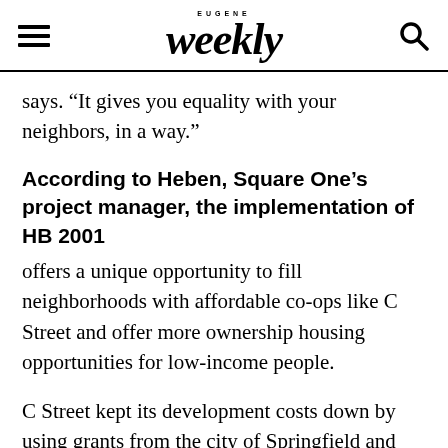EUGENE Weekly
says. “It gives you equality with your neighbors, in a way.”
According to Heben, Square One’s project manager, the implementation of HB 2001
offers a unique opportunity to fill neighborhoods with affordable co-ops like C Street and offer more ownership housing opportunities for low-income people.
C Street kept its development costs down by using grants from the city of Springfield and loans from banks and investors, which is part of what made it affordable. But the reviews